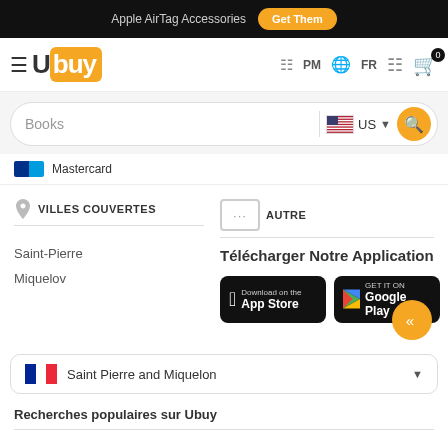Apple AirTag Accessories  Get Them
[Figure (logo): Ubuy logo with hamburger menu, PM country icon, FR language, user icon, and cart with 0 items]
[Figure (screenshot): Search bar with 'Books' text, US flag country selector, and orange search button]
Mastercard
VILLES COUVERTES
Saint-Pierre
Miquelov
AUTRE
Télécharger Notre Application
[Figure (logo): App Store and Google Play download buttons]
[Figure (infographic): Orange circular up-arrow scroll-to-top button]
Saint Pierre and Miquelon
Recherches populaires sur Ubuy